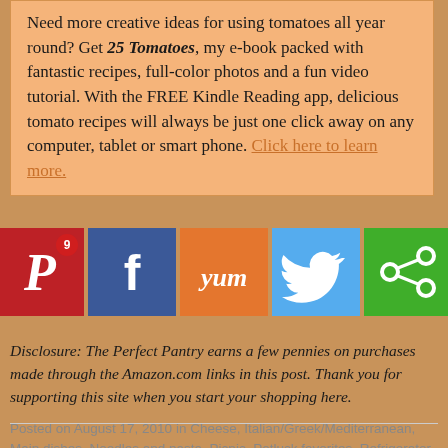Need more creative ideas for using tomatoes all year round? Get 25 Tomatoes, my e-book packed with fantastic recipes, full-color photos and a fun video tutorial. With the FREE Kindle Reading app, delicious tomato recipes will always be just one click away on any computer, tablet or smart phone. Click here to learn more.
[Figure (infographic): Row of five social share buttons: Pinterest (with red badge showing 9), Facebook, Yummly, Twitter, and a green share button]
Disclosure: The Perfect Pantry earns a few pennies on purchases made through the Amazon.com links in this post. Thank you for supporting this site when you start your shopping here.
Posted on August 17, 2010 in Cheese, Italian/Greek/Mediterranean, Main dishes, Noodles and pasta, Picnic, Potluck favorites, Refrigerator, Salad and dressings, Vegetarian | Permalink | Comments (12)